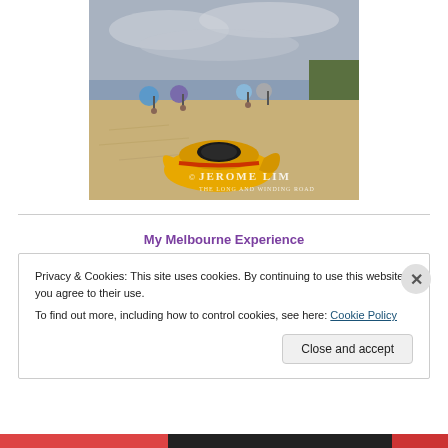[Figure (photo): A yellow sea kayak on a sandy beach with people holding umbrellas in the background on an overcast day. Watermark text reads: Jerome Lim, The Long and Winding Road.]
My Melbourne Experience
Privacy & Cookies: This site uses cookies. By continuing to use this website, you agree to their use.
To find out more, including how to control cookies, see here: Cookie Policy